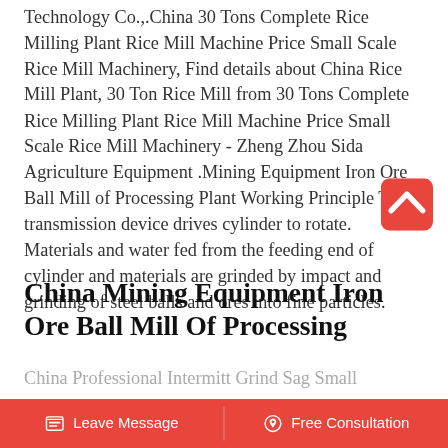Technology Co.,.China 30 Tons Complete Rice Milling Plant Rice Mill Machine Price Small Scale Rice Mill Machinery, Find details about China Rice Mill Plant, 30 Ton Rice Mill from 30 Tons Complete Rice Milling Plant Rice Mill Machine Price Small Scale Rice Mill Machinery - Zheng Zhou Sida Agriculture Equipment .Mining Equipment Iron Ore Ball Mill of Processing Plant Working Principle The transmission device drives cylinder to rotate. Materials and water fed from the feeding end of cylinder and materials are grinded by impact and grinding of steel balls and ores into fine particles.
[Figure (logo): Red rounded square button with white upward chevron/arrow icon, representing a back-to-top button]
China Mining Equipment Iron Ore Ball Mill Of Processing
China Professional Intermitt Grind Sag Small...
Leave Message   Free Consultation